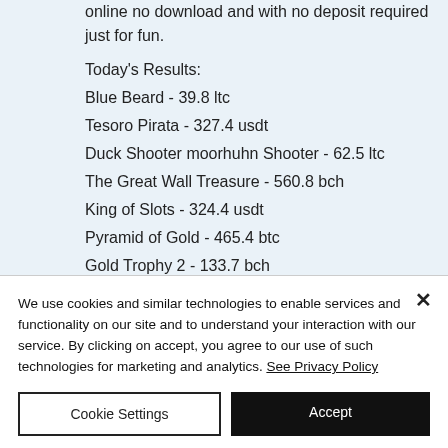online no download and with no deposit required just for fun.
Today's Results:
Blue Beard - 39.8 ltc
Tesoro Pirata - 327.4 usdt
Duck Shooter moorhuhn Shooter - 62.5 ltc
The Great Wall Treasure - 560.8 bch
King of Slots - 324.4 usdt
Pyramid of Gold - 465.4 btc
Gold Trophy 2 - 133.7 bch
Burning Stars - 11.8 dog
Burning Desire - 721.1 bch
We use cookies and similar technologies to enable services and functionality on our site and to understand your interaction with our service. By clicking on accept, you agree to our use of such technologies for marketing and analytics. See Privacy Policy